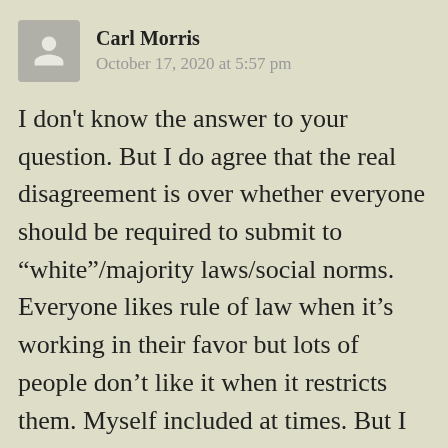Carl Morris
October 17, 2020 at 5:57 pm
I don't know the answer to your question. But I do agree that the real disagreement is over whether everyone should be required to submit to “white”/majority laws/social norms. Everyone likes rule of law when it’s working in their favor but lots of people don’t like it when it restricts them. Myself included at times. But I generally submit rather than testing the limits and when I do test the limits I